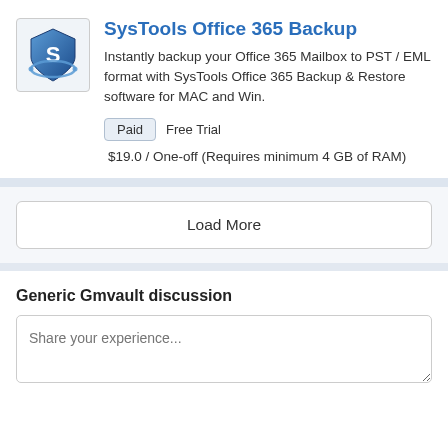[Figure (logo): SysTools logo — blue shield with S letter and orbital ring]
SysTools Office 365 Backup
Instantly backup your Office 365 Mailbox to PST / EML format with SysTools Office 365 Backup & Restore software for MAC and Win.
Paid   Free Trial
$19.0 / One-off (Requires minimum 4 GB of RAM)
Load More
Generic Gmvault discussion
Share your experience...